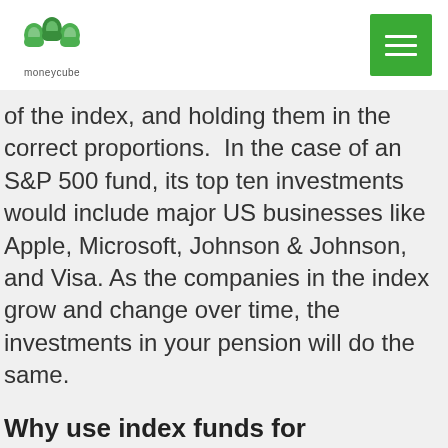[Figure (logo): Moneycube logo with green double-m icon and 'moneycube' text below]
of the index, and holding them in the correct proportions.  In the case of an S&P 500 fund, its top ten investments would include major US businesses like Apple, Microsoft, Johnson & Johnson, and Visa. As the companies in the index grow and change over time, the investments in your pension will do the same.
It's like putting your pensions on auto-pilot to fly to your chosen destination.
Why use index funds for